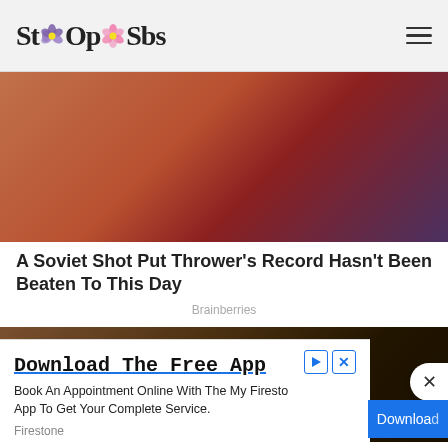StoOpSbs
[Figure (photo): Photo of a Soviet female athlete in a red Adidas tracksuit top, looking down, with blurred crowd in background]
A Soviet Shot Put Thrower's Record Hasn't Been Beaten To This Day
Brainberries
[Figure (photo): Photo of a young man looking up in a grand interior, movie scene]
Download The Free App
Book An Appointment Online With The My Firesto App To Get Your Complete Service.
Firestone
Download